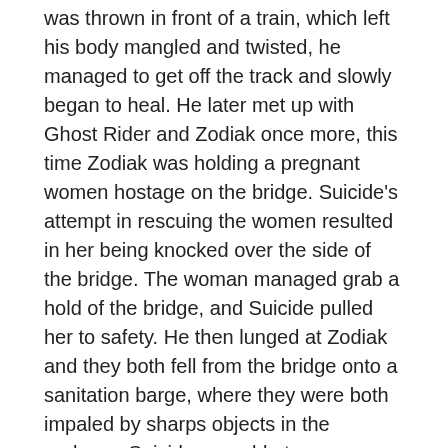was thrown in front of a train, which left his body mangled and twisted, he managed to get off the track and slowly began to heal. He later met up with Ghost Rider and Zodiak once more, this time Zodiak was holding a pregnant women hostage on the bridge. Suicide's attempt in rescuing the women resulted in her being knocked over the side of the bridge. The woman managed grab a hold of the bridge, and Suicide pulled her to safety. He then lunged at Zodiak and they both fell from the bridge onto a sanitation barge, where they were both impaled by sharps objects in the garbage. Suicide was able to recover from his injuries once again. Zodiak's body was cremated by Ghost Rider and Suicide, leaving nothing but ashes. Suicide and Ghost Rider eventually went their separate ways.
Suicide later returned, while an agent of Deathwatch, known as Death Ninja, was engaged in engaged in a confrontation with the Ghost Rider. The Death Ninja, also wanted to die at the hands of the Ghost Rider. Their actions had the flamed Spirit of Vengeance